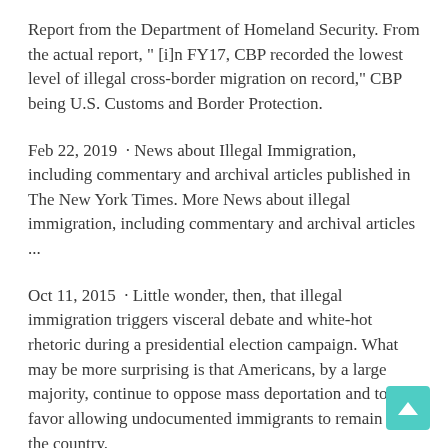Report from the Department of Homeland Security. From the actual report, " [i]n FY17, CBP recorded the lowest level of illegal cross-border migration on record," CBP being U.S. Customs and Border Protection.
Feb 22, 2019 · News about Illegal Immigration, including commentary and archival articles published in The New York Times. More News about illegal immigration, including commentary and archival articles ...
Oct 11, 2015 · Little wonder, then, that illegal immigration triggers visceral debate and white-hot rhetoric during a presidential election campaign. What may be more surprising is that Americans, by a large majority, continue to oppose mass deportation and to favor allowing undocumented immigrants to remain in the country.
The problem is that corporations don't want to stop illegal immigration and don't want to pay fines ... governor pulls plug on L.A.-S.F. high-speed train" (feb. 12); The article